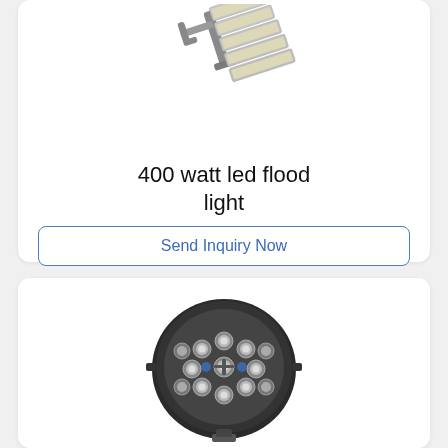[Figure (photo): 400 watt LED flood light product photo showing modular panel-style flood light fixture with mounting bracket, angled view]
400 watt led flood light
Send Inquiry Now
[Figure (photo): Round LED stadium/sport light with multiple cylindrical lens modules arranged in a circular pattern, dark housing with blue accent, front view]